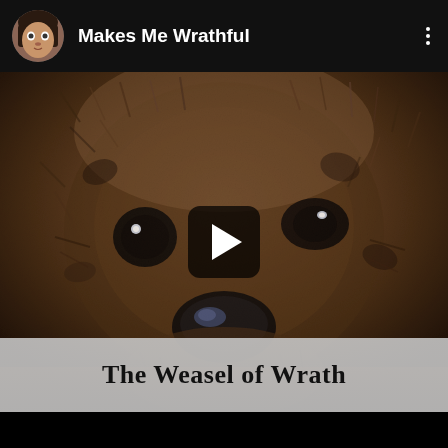Makes Me Wrathful
[Figure (screenshot): Close-up photo of a stuffed weasel toy (Beanie Baby style) with dark glossy eyes and a shiny dark nose, brown and black textured fur, with a video play button overlay in the center]
The Weasel of Wrath